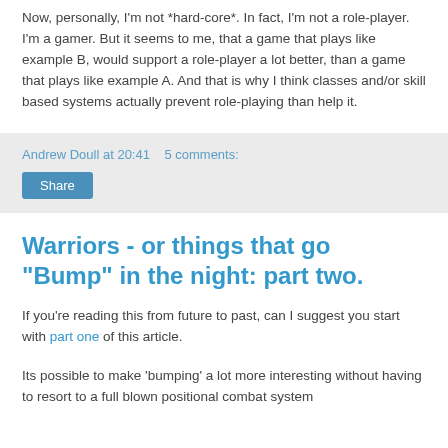Now, personally, I'm not *hard-core*. In fact, I'm not a role-player. I'm a gamer. But it seems to me, that a game that plays like example B, would support a role-player a lot better, than a game that plays like example A. And that is why I think classes and/or skill based systems actually prevent role-playing than help it.
Andrew Doull at 20:41   5 comments:
Share
Warriors - or things that go "Bump" in the night: part two.
If you're reading this from future to past, can I suggest you start with part one of this article.
Its possible to make 'bumping' a lot more interesting without having to resort to a full blown positional combat system